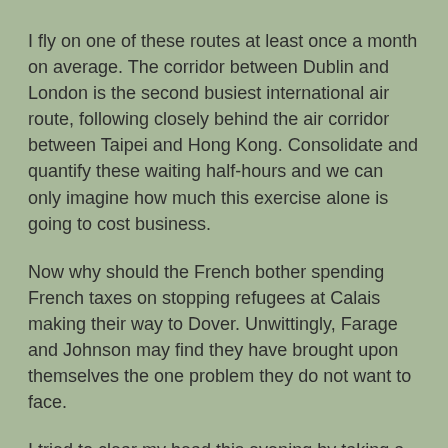I fly on one of these routes at least once a month on average. The corridor between Dublin and London is the second busiest international air route, following closely behind the air corridor between Taipei and Hong Kong. Consolidate and quantify these waiting half-hours and we can only imagine how much this exercise alone is going to cost business.
Now why should the French bother spending French taxes on stopping refugees at Calais making their way to Dover. Unwittingly, Farage and Johnson may find they have brought upon themselves the one problem they do not want to face.
I tried to clear my head this evening by taking a walk before dinner along the pebble-strewn shoreline at Bray, Co Wicklow. And I found that in my head I was going over and over again the words of Matthew Arnold's poem Dover Beach first published almost 150 years ago in 1867 in his collection New Poems.
Matthew Arnold was the godson of John Keble, and his